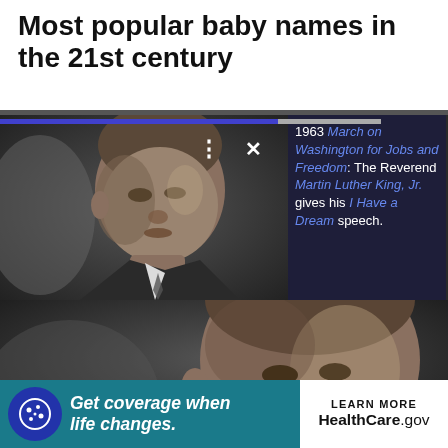Most popular baby names in the 21st century
[Figure (screenshot): Screenshot of a web article showing a black-and-white photo of Martin Luther King Jr. with an overlay panel on the right side showing text: '1963 March on Washington for Jobs and Freedom: The Reverend Martin Luther King, Jr. gives his I Have a Dream speech.' There is a progress bar at the top and UI controls (three-dot menu and X button) overlaid on the photo.]
[Figure (photo): Large black-and-white close-up photograph of Martin Luther King Jr.]
[Figure (screenshot): Advertisement banner: cookie icon on left, teal background, text 'Get coverage when life changes.' in white italic bold, right side white panel with 'LEARN MORE' and 'HealthCare.gov']